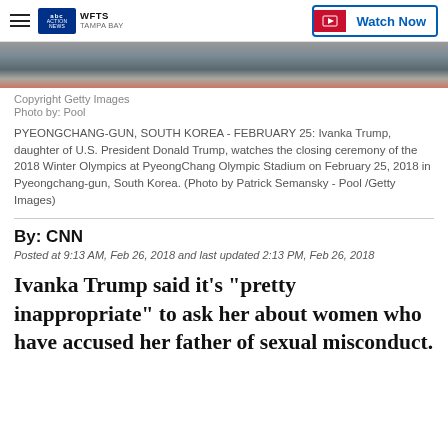WFTS Tampa Bay | Watch Now
[Figure (photo): Partial view of photo showing crowd at an event, cropped to show just the top portion]
Copyright Getty Images
Photo by: Pool

PYEONGCHANG-GUN, SOUTH KOREA - FEBRUARY 25: Ivanka Trump, daughter of U.S. President Donald Trump, watches the closing ceremony of the 2018 Winter Olympics at PyeongChang Olympic Stadium on February 25, 2018 in Pyeongchang-gun, South Korea. (Photo by Patrick Semansky - Pool /Getty Images)
By: CNN
Posted at 9:13 AM, Feb 26, 2018 and last updated 2:13 PM, Feb 26, 2018
Ivanka Trump said it's "pretty inappropriate" to ask her about women who have accused her father of sexual misconduct.